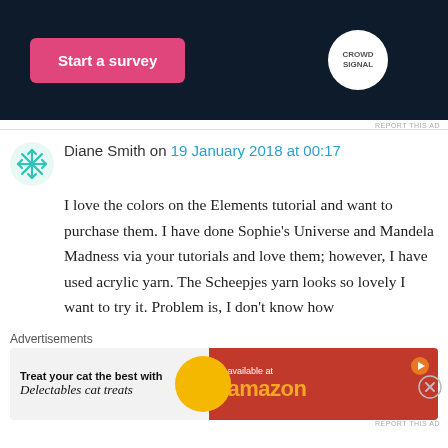[Figure (screenshot): Dark navy ad banner with a pink 'Start a survey' button and a Crowd Signal circular logo on the right]
REPORT THIS AD
Diane Smith on 19 January 2018 at 00:17
I love the colors on the Elements tutorial and want to purchase them. I have done Sophie's Universe and Mandela Madness via your tutorials and love them; however, I have used acrylic yarn. The Scheepjes yarn looks so lovely I want to try it. Problem is, I don't know how
Advertisements
[Figure (screenshot): Advertisement banner: 'Treat your cat the best with Delectables cat treats available at amazon']